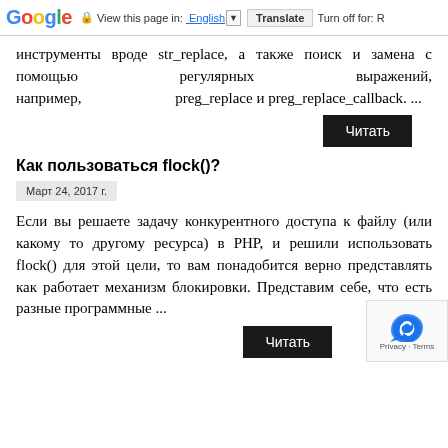Google  View this page in: English  Translate  Turn off for: R
инструменты вроде str_replace, а также поиск и замена с помощью регулярных выражений, например, preg_replace и preg_replace_callback. ...
Читать
Как пользоваться flock()?
Март 24, 2017 г.
Если вы решаете задачу конкурентного доступа к файлу (или какому то другому ресурса) в PHP, и решили использовать flock() для этой цели, то вам понадобится верно представлять как работает механизм блокировки. Представим себе, что есть разные программные ...
Читать